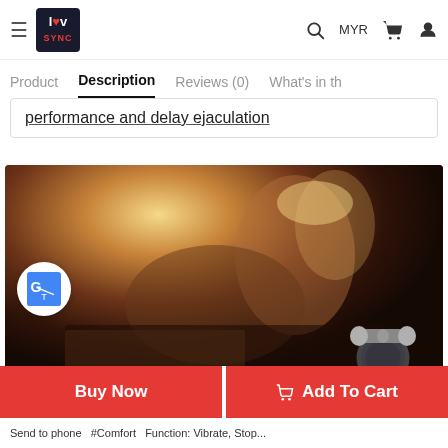≡ [Logo: lov SYNC] Q MYR 🛒 👤
Product  Description  Reviews (0)  What's in th
performance and delay ejaculation
[Figure (photo): Couple in intimate pose overlaid with Google Translate badge and a vibrating cock ring product image in the corner. Bottom bar shows brand logo and text: Vibrating Cock Ring 10 modes, USB rechargeable]
Buy Now    🛒 Add To Cart
Send to phone  #Comfort  Function: Vibrate, Stop...